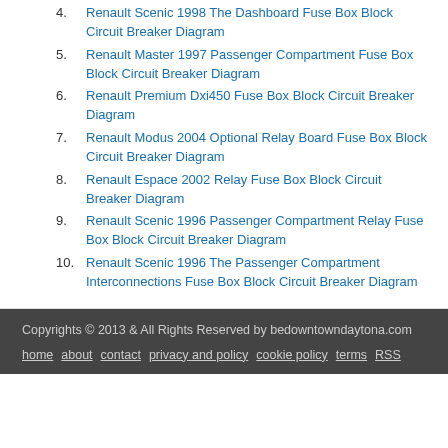4. Renault Scenic 1998 The Dashboard Fuse Box Block Circuit Breaker Diagram
5. Renault Master 1997 Passenger Compartment Fuse Box Block Circuit Breaker Diagram
6. Renault Premium Dxi450 Fuse Box Block Circuit Breaker Diagram
7. Renault Modus 2004 Optional Relay Board Fuse Box Block Circuit Breaker Diagram
8. Renault Espace 2002 Relay Fuse Box Block Circuit Breaker Diagram
9. Renault Scenic 1996 Passenger Compartment Relay Fuse Box Block Circuit Breaker Diagram
10. Renault Scenic 1996 The Passenger Compartment Interconnections Fuse Box Block Circuit Breaker Diagram
Copyrights © 2013 & All Rights Reserved by bedowntowndaytona.com | home | about | contact | privacy and policy | cookie policy | terms | RSS